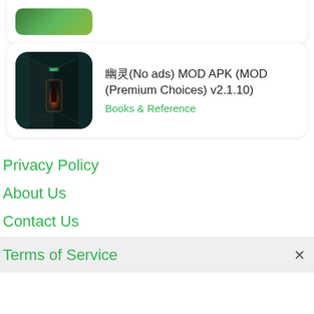[Figure (screenshot): Partial top card with a game app icon (green-themed illustration, partially visible)]
[Figure (screenshot): App listing card: mystery corridor game image with glowing orange figure. Text: 幽灵(No ads) MOD APK (MOD (Premium Choices) v2.1.10), category: Books & Reference]
幽灵(No ads) MOD APK (MOD (Premium Choices) v2.1.10)
Books & Reference
Privacy Policy
About Us
Contact Us
Terms of Service